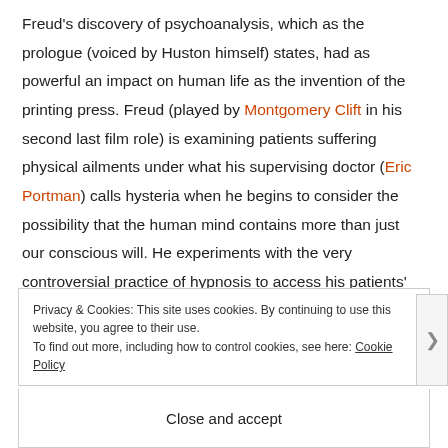Freud's discovery of psychoanalysis, which as the prologue (voiced by Huston himself) states, had as powerful an impact on human life as the invention of the printing press. Freud (played by Montgomery Clift in his second last film role) is examining patients suffering physical ailments under what his supervising doctor (Eric Portman) calls hysteria when he begins to consider the possibility that the human mind contains more than just our conscious will. He experiments with the very controversial practice of hypnosis to access his patients' dream life and is rejected by his colleagues for doing
Privacy & Cookies: This site uses cookies. By continuing to use this website, you agree to their use.
To find out more, including how to control cookies, see here: Cookie Policy
Close and accept